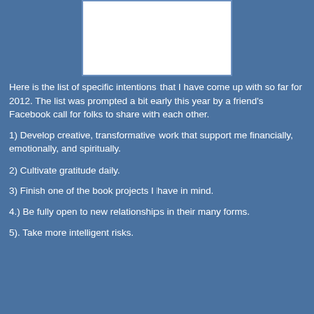[Figure (other): White rectangular image area at top center of page]
Here is the list of specific intentions that I have come up with so far for 2012. The list was prompted a bit early this year by a friend's Facebook call for folks to share with each other.
1) Develop creative, transformative work that support me financially, emotionally, and spiritually.
2) Cultivate gratitude daily.
3) Finish one of the book projects I have in mind.
4.) Be fully open to new relationships in their many forms.
5). Take more intelligent risks.